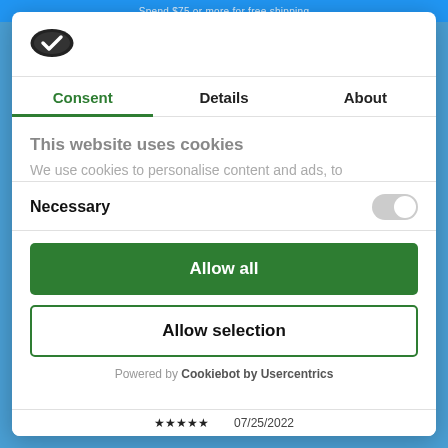Spend $75 or more for free shipping
[Figure (logo): Cookiebot logo — dark oval with white checkmark]
Consent | Details | About
This website uses cookies
We use cookies to personalise content and ads, to
Necessary
Allow all
Allow selection
Powered by Cookiebot by Usercentrics
07/25/2022